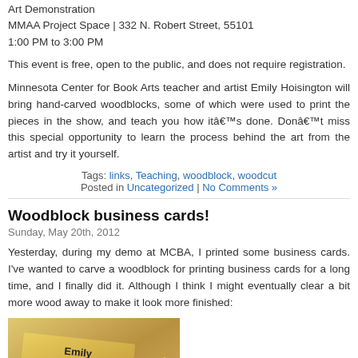Art Demonstration
MMAA Project Space | 332 N. Robert Street, 55101
1:00 PM to 3:00 PM
This event is free, open to the public, and does not require registration.
Minnesota Center for Book Arts teacher and artist Emily Hoisington will bring hand-carved woodblocks, some of which were used to print the pieces in the show, and teach you how it’s done. Don’t miss this special opportunity to learn the process behind the art from the artist and try it yourself.
Tags: links, Teaching, woodblock, woodcut
Posted in Uncategorized | No Comments »
Woodblock business cards!
Sunday, May 20th, 2012
Yesterday, during my demo at MCBA, I printed some business cards. I’ve wanted to carve a woodblock for printing business cards for a long time, and I finally did it. Although I think I might eventually clear a bit more wood away to make it look more finished:
[Figure (photo): Photo of hand-printed woodblock business cards showing Emily Hoisington's name in yellow/golden ink on white card stock]